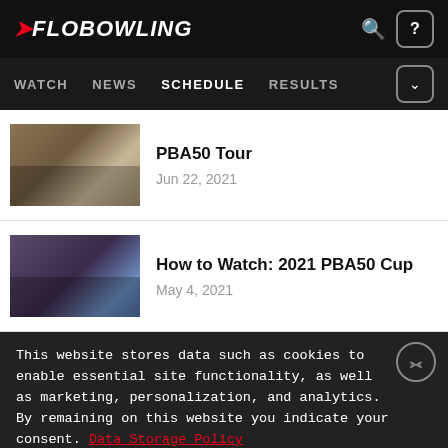FloBowling — navigation header with WATCH, NEWS, SCHEDULE (active), RESULTS
PBA50 Tour — Jun 22, 2021
How to Watch: 2021 PBA50 Cup — May 4, 2021
This website stores data such as cookies to enable essential site functionality, as well as marketing, personalization, and analytics. By remaining on this website you indicate your consent. Data Storage Policy